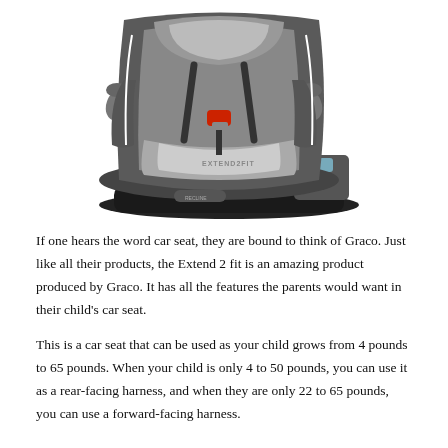[Figure (photo): A Graco Extend2Fit convertible car seat in gray, black, and orange colorway, shown at a slight angle. The seat features a 5-point harness, cup holders on both sides, and a recline base with orange adjustment buttons.]
If one hears the word car seat, they are bound to think of Graco. Just like all their products, the Extend 2 fit is an amazing product produced by Graco. It has all the features the parents would want in their child's car seat.
This is a car seat that can be used as your child grows from 4 pounds to 65 pounds. When your child is only 4 to 50 pounds, you can use it as a rear-facing harness, and when they are only 22 to 65 pounds, you can use a forward-facing harness.